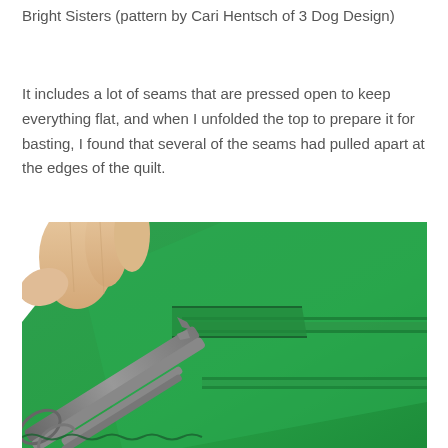Bright Sisters (pattern by Cari Hentsch of 3 Dog Design)
It includes a lot of seams that are pressed open to keep everything flat, and when I unfolded the top to prepare it for basting, I found that several of the seams had pulled apart at the edges of the quilt.
[Figure (photo): Close-up photo of green quilt fabric with open seams being examined by scissors/tweezers held by a hand, showing a pressed-open seam that has pulled apart at the edge.]